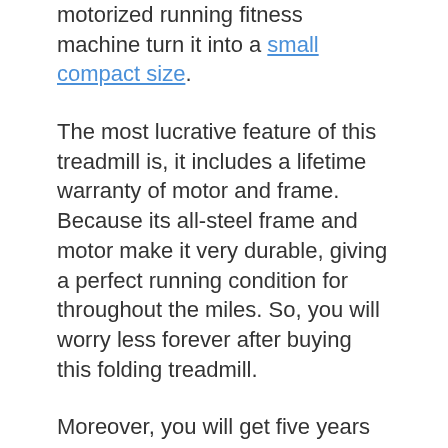motorized running fitness machine turn it into a small compact size.
The most lucrative feature of this treadmill is, it includes a lifetime warranty of motor and frame. Because its all-steel frame and motor make it very durable, giving a perfect running condition for throughout the miles. So, you will worry less forever after buying this folding treadmill.
Moreover, you will get five years of warranty on equipment parts and one year of labour warranty.
This treadmill for running under 2000 offers a high capacity and heavy-duty 3.25 HP continuous-duty DC motor. The level of adjustable incline is 15, and